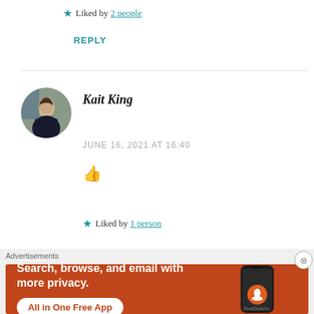★ Liked by 2 people
REPLY
Kait King
JUNE 16, 2021 AT 16:40
👍
★ Liked by 1 person
Advertisements
[Figure (screenshot): DuckDuckGo advertisement banner: orange background with text 'Search, browse, and email with more privacy. All in One Free App' and DuckDuckGo logo on a phone mockup]